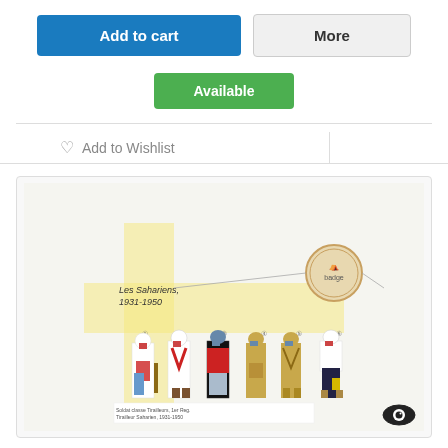Add to cart
More
Available
Add to Wishlist
[Figure (illustration): Illustration of military uniforms titled 'Les Sahariens, 1931-1950' showing six soldiers in various period uniforms with a circular badge emblem in the upper right]